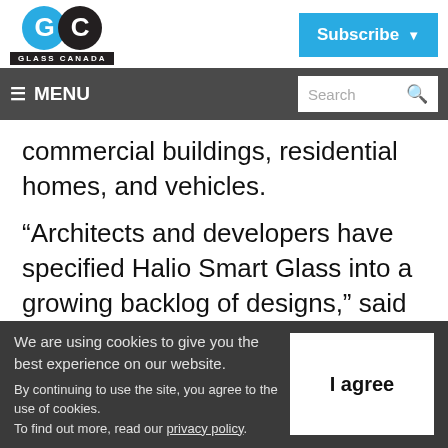[Figure (logo): Glass Canada logo with blue G circle and black C circle, with 'GLASS CANADA' text bar below]
[Figure (other): Blue 'Subscribe' button with dropdown arrow in top right]
≡ MENU   Search 🔍
commercial buildings, residential homes, and vehicles.
“Architects and developers have specified Halio Smart Glass into a growing backlog of designs,” said Bruce Sohn, Halio CEO. “Our
We are using cookies to give you the best experience on our website. By continuing to use the site, you agree to the use of cookies. To find out more, read our privacy policy.